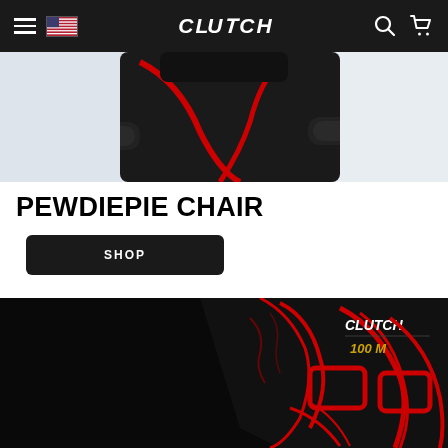CLUTCH
[Figure (photo): Partial view of a black and red gaming chair with armrests visible against a light background]
PEWDIEPIE CHAIR
SHOP
[Figure (photo): Close-up of a black gaming chair with red accents and tribal pattern design, showing the Clutch 100 M logo on the backrest, against a dark background]